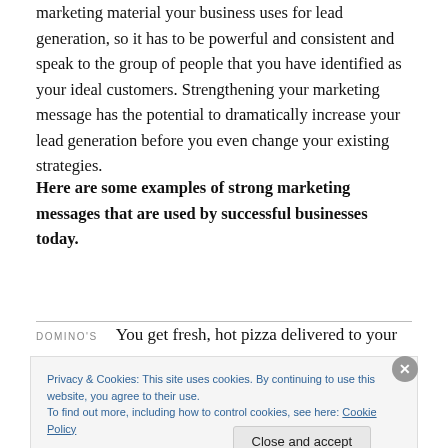marketing material your business uses for lead generation, so it has to be powerful and consistent and speak to the group of people that you have identified as your ideal customers. Strengthening your marketing message has the potential to dramatically increase your lead generation before you even change your existing strategies.
Here are some examples of strong marketing messages that are used by successful businesses today.
DOMINO'S   You get fresh, hot pizza delivered to your
Privacy & Cookies: This site uses cookies. By continuing to use this website, you agree to their use.
To find out more, including how to control cookies, see here: Cookie Policy
Close and accept